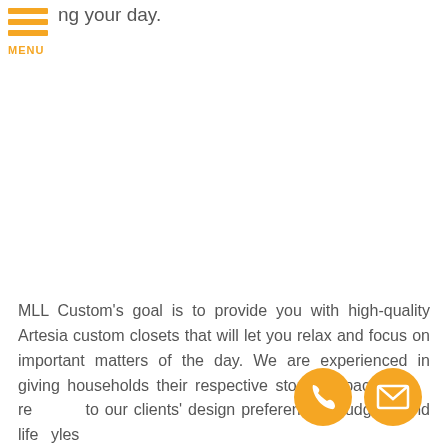ng your day.
MLL Custom's goal is to provide you with high-quality Artesia custom closets that will let you relax and focus on important matters of the day. We are experienced in giving households their respective storage space re to our clients' design preferences, budgets, and lifestyles